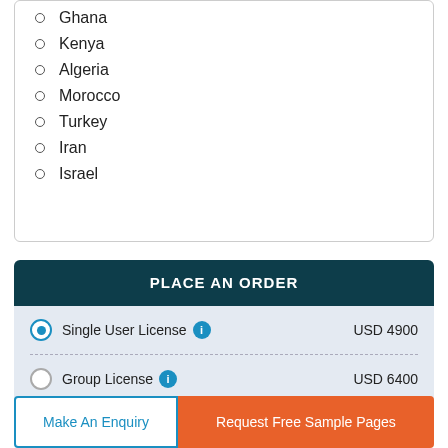Ghana
Kenya
Algeria
Morocco
Turkey
Iran
Israel
PLACE AN ORDER
| License Type | Price |
| --- | --- |
| Single User License | USD 4900 |
| Group License | USD 6400 |
Make An Enquiry
Request Free Sample Pages